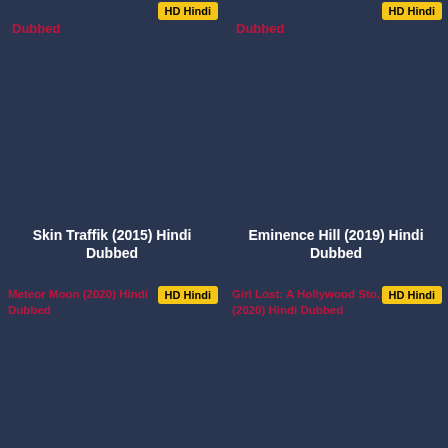[Figure (screenshot): Partial movie card top-left with red 'Dubbed' text and yellow 'HD Hindi' badge partially visible]
[Figure (screenshot): Partial movie card top-right with red 'Dubbed' text and yellow 'HD Hindi' badge partially visible]
[Figure (screenshot): Movie card for Skin Traffik (2015) Hindi Dubbed with image placeholder and title]
[Figure (screenshot): Movie card for Eminence Hill (2019) Hindi Dubbed with image placeholder and title]
[Figure (screenshot): Movie card for Meteor Moon (2020) Hindi Dubbed with HD Hindi badge]
[Figure (screenshot): Movie card for Girl Lost: A Hollywood Story (2020) Hindi Dubbed with HD Hindi badge]